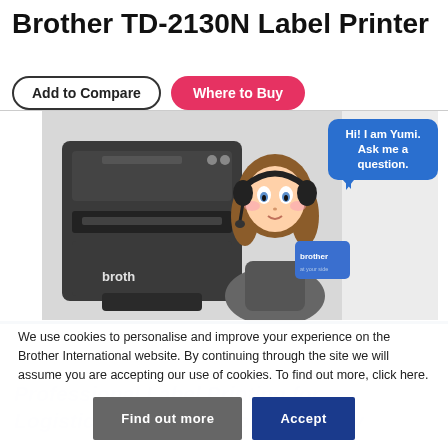Brother TD-2130N Label Printer
Add to Compare
Where to Buy
[Figure (photo): Brother TD-2130N label printer device with an anime-style virtual assistant character named Yumi wearing a headset, holding a Brother-branded card. A speech bubble reads: Hi! I am Yumi. Ask me a question.]
We use cookies to personalise and improve your experience on the Brother International website. By continuing through the site we will assume you are accepting our use of cookies. To find out more, click here.
Find out more
Accept
Professional Label Printing for Logistics, Retail and Food Industry